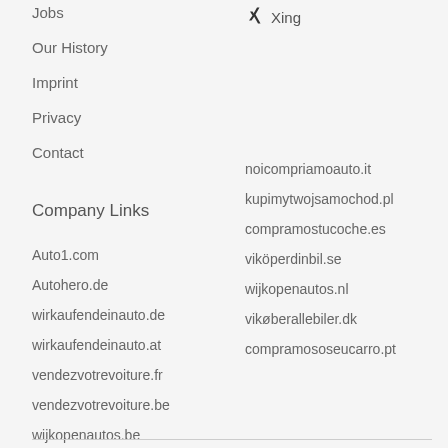Jobs
Xing
Our History
Imprint
Privacy
Contact
Company Links
Auto1.com
noicompriamoauto.it
Autohero.de
kupimytwojsamochod.pl
wirkaufendeinauto.de
compramostucoche.es
wirkaufendeinauto.at
viköperdinbil.se
vendezvotrevoiture.fr
wijkopenautos.nl
vendezvotrevoiture.be
vikøberallebiler.dk
wijkopenautos.be
compramososeucarro.pt